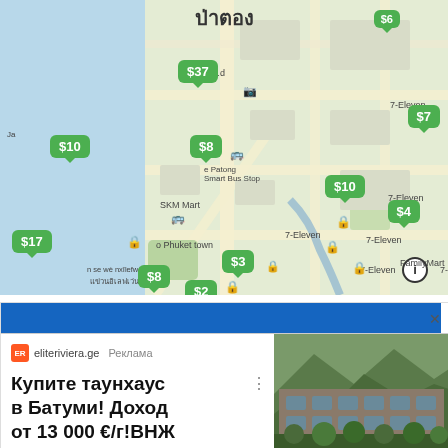[Figure (map): Map of Patong area in Phuket, Thailand showing accommodation price pins in green ($2, $3, $4, $6, $7, $8, $8, $10, $10, $17, $37) with various map labels including SKM Mart, FamilyMart, 7-Eleven locations, Patong Smart Bus Stop, and Thai text.]
[Figure (screenshot): Mobile advertisement from eliteriviera.ge (Реклама/Ad) with text in Russian: Купите таунхаус в Батуми! Доход от 13 000 €/г!ВНЖ Грузии, with a building/real estate photo on the right side.]